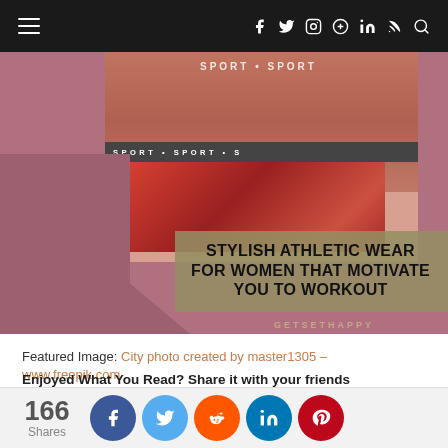Navigation bar with hamburger menu and social icons: f, twitter, instagram, pinterest, in, rss, search
[Figure (photo): Athletic wear photo showing a woman's midsection with sport waistband shorts and a mauve geometric background, overlaid with the text 'STYLISH ATHLETIC WEAR FOR WOMEN THAT MOTIVATE YOU TO WORKOUT' and branding 'GETSETHAPPY']
Featured Image: City photo created by master1305 – www.freepik.com
Enjoyed What You Read? Share it with your friends
[Figure (infographic): Social share buttons row: Facebook (dark blue), Twitter (light blue), Reddit (orange), LinkedIn (teal/blue), Pinterest (red) circles with share count 166 Shares]
[Figure (infographic): Sticky bottom share bar showing 166 Shares on left and Facebook, Twitter, Reddit, LinkedIn, Pinterest icon circles]